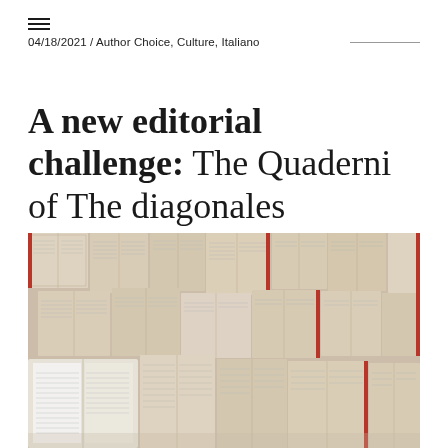04/18/2021 / Author Choice, Culture, Italiano
A new editorial challenge: The Quaderni of The diagonales
[Figure (photo): A wall of open books with pages spread out, shot from above, showing many books arranged in overlapping patterns with cream/beige pages and some red spines visible]